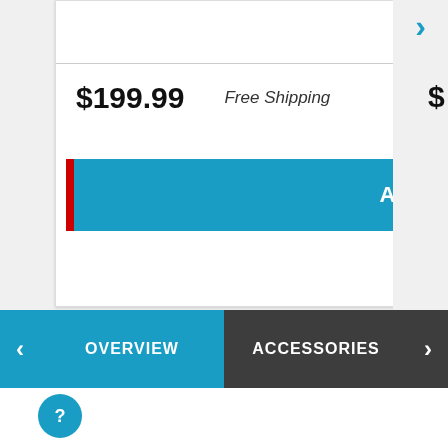$199.99    Free Shipping
ADD TO CART
OVERVIEW
ACCESSORIES
[Figure (other): Help/chat button circle icon with question mark]